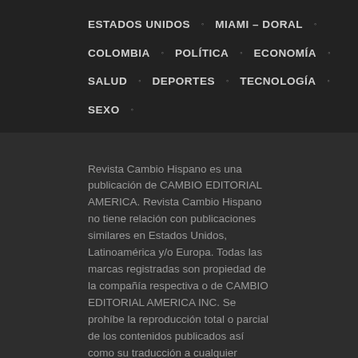ESTADOS UNIDOS · MIAMI – DORAL ·
COLOMBIA · POLÍTICA · ECONOMÍA ·
SALUD · DEPORTES · TECNOLOGÍA ·
SEXO ·
Revista Cambio Hispano es una publicación de CAMBIO EDITORIAL AMERICA. Revista Cambio Hispano no tiene relación con publicaciones similares en Estados Unidos, Latinoamérica y/o Europa. Todas las marcas registradas son propiedad de la compañía respectiva o de CAMBIO EDITORIAL AMERICA INC. Se prohíbe la reproducción total o parcial de los contenidos publicados así como su traducción a cualquier idioma sin autorización escrita de su titular.